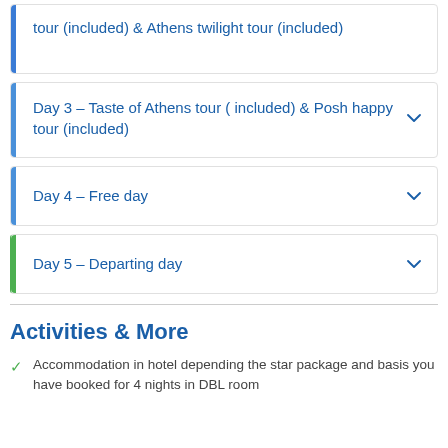tour (included) & Athens twilight tour (included)
Day 3 – Taste of Athens tour ( included) & Posh happy tour (included)
Day 4 – Free day
Day 5 – Departing day
Activities & More
Accommodation in hotel depending the star package and basis you have booked for 4 nights in DBL room